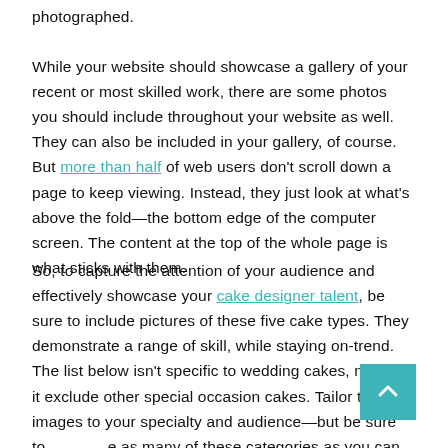photographed.
While your website should showcase a gallery of your recent or most skilled work, there are some photos you should include throughout your website as well. They can also be included in your gallery, of course. But more than half of web users don't scroll down a page to keep viewing. Instead, they just look at what's above the fold—the bottom edge of the computer screen. The content at the top of the whole page is what sticks with them.
So, to capture the attention of your audience and effectively showcase your cake designer talent, be sure to include pictures of these five cake types. They demonstrate a range of skill, while staying on-trend. The list below isn't specific to wedding cakes, nor does it exclude other special occasion cakes. Tailor the images to your specialty and audience—but be sure to include as many of these categories as you can.